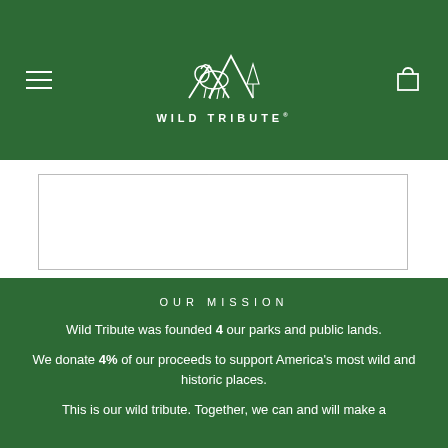WILD TRIBUTE
[Figure (logo): Wild Tribute logo with bison and mountain outline in white on green background, with text WILD TRIBUTE below]
OUR MISSION
Wild Tribute was founded 4 our parks and public lands.
We donate 4% of our proceeds to support America's most wild and historic places.
This is our wild tribute. Together, we can and will make a